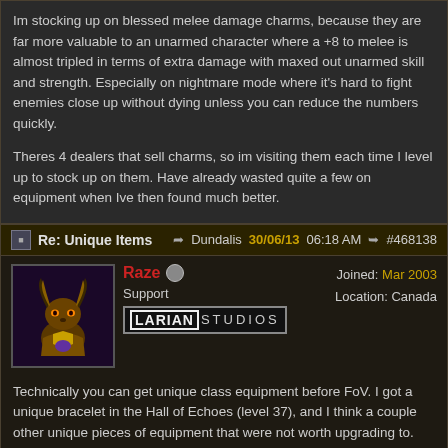Im stocking up on blessed melee damage charms, because they are far more valuable to an unarmed character where a +8 to melee is almost tripled in terms of extra damage with maxed out unarmed skill and strength. Especially on nightmare mode where it's hard to fight enemies close up without dying unless you can reduce the numbers quickly.

Theres 4 dealers that sell charms, so im visiting them each time I level up to stock up on them. Have already wasted quite a few on equipment when Ive then found much better.
Re: Unique Items  Dundalis  30/06/13 06:18 AM  #468138
Raze — Joined: Mar 2003 — Location: Canada — Support — Larian Studios
Technically you can get unique class equipment before FoV. I got a unique bracelet in the Hall of Echoes (level 37), and I think a couple other unique pieces of equipment that were not worth upgrading to.

With my ranger in DKS (on nightmare) I could just go with whatever the best set or predetermined bow was; after the first couple levels I never saw a randomly generated bow worth looking at (except possibly for the enchantment formula). I'm planning on starting an unarmed warrior